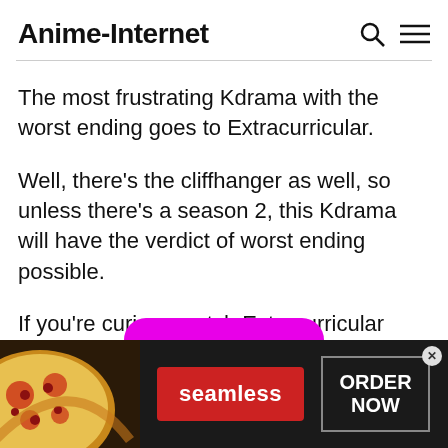Anime-Internet
The most frustrating Kdrama with the worst ending goes to Extracurricular.
Well, there's the cliffhanger as well, so unless there's a season 2, this Kdrama will have the verdict of worst ending possible.
If you're curious watch Extracurricular available on Netflix.
[Figure (infographic): Advertisement banner for Seamless food delivery. Shows pizza image on the left, a red 'seamless' button in the center, and an 'ORDER NOW' button in a grey-bordered box on the right. Has an X close button in the top-right corner. A magenta button peeks above the banner.]